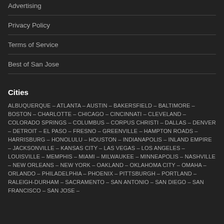Advertising
Privacy Policy
Terms of Service
Best of San Jose
Cities
ALBUQUERQUE - ATLANTA - AUSTIN - BAKERSFIELD - BALTIMORE - BOSTON - CHARLOTTE - CHICAGO - CINCINNATI - CLEVELAND - COLORADO SPRINGS - COLUMBUS - CORPUS CHRISTI - DALLAS - DENVER - DETROIT - EL PASO - FRESNO - GREENVILLE - HAMPTON ROADS - HARRISBURG - HONOLULU - HOUSTON - INDIANAPOLIS - INLAND EMPIRE - JACKSONVILLE - KANSAS CITY - LAS VEGAS - LOS ANGELES - LOUISVILLE - MEMPHIS - MIAMI - MILWAUKEE - MINNEAPOLIS - NASHVILLE - NEW ORLEANS - NEW YORK - OAKLAND - OKLAHOMA CITY - OMAHA - ORLANDO - PHILADELPHIA - PHOENIX - PITTSBURGH - PORTLAND - RALEIGH-DURHAM - SACRAMENTO - SAN ANTONIO - SAN DIEGO - SAN FRANCISCO - SAN JOSE -